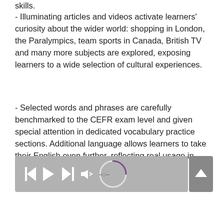skills.
- Illuminating articles and videos activate learners' curiosity about the wider world: shopping in London, the Paralympics, team sports in Canada, British TV and many more subjects are explored, exposing learners to a wide selection of cultural experiences.
- Selected words and phrases are carefully benchmarked to the CEFR exam level and given special attention in dedicated vocabulary practice sections. Additional language allows learners to take their English even further, reflecting real usage in everyday English.
[Figure (other): Audio media player bar with playback controls (skip back, play, skip forward, volume) and a circular loading/progress indicator showing --:--]